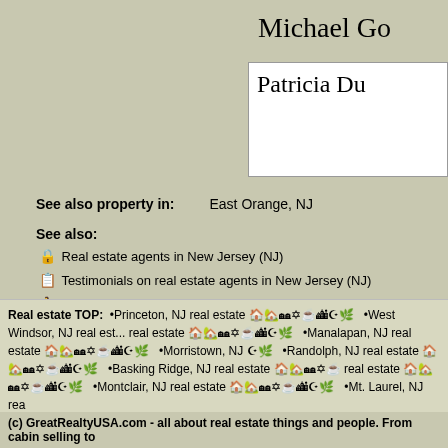Michael Go
Patricia Du
See also property in:   East Orange, NJ
See also:
Real estate agents in New Jersey (NJ)
Testimonials on real estate agents in New Jersey (NJ)
Towns in New Jersey (NJ)
Cultural towns in New Jersey (NJ)
Kosher towns in New Jersey (NJ)
Halal towns in New Jersey (NJ)
Millennials towns in New Jersey (NJ)
Organic towns in New Jersey (NJ)
Coffee towns in New Jersey (NJ)
All real estate agents
[Figure (screenshot): ENHANCED BY Google search box with Search button]
Real estate TOP: •Princeton, NJ real estate  •West Windsor, NJ real estate  •Manalapan, NJ real estate  •Morristown, NJ real estate  •Randolph, NJ real estate  •Basking Ridge, NJ real estate  •Montclair, NJ real estate  •Mt. Laurel, NJ real estate
(c) GreatRealtyUSA.com - all about real estate things and people. From cabin selling to